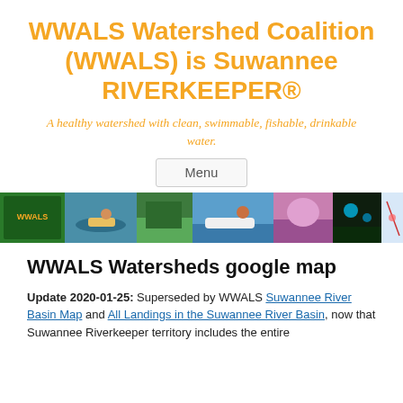WWALS Watershed Coalition (WWALS) is Suwannee RIVERKEEPER®
A healthy watershed with clean, swimmable, fishable, drinkable water.
[Figure (other): Menu button UI element]
[Figure (photo): Horizontal photo strip showing various river and outdoor activity scenes including kayaking, paddleboarding, wildlife, and a map]
WWALS Watersheds google map
Update 2020-01-25: Superseded by WWALS Suwannee River Basin Map and All Landings in the Suwannee River Basin, now that Suwannee Riverkeeper territory includes the entire